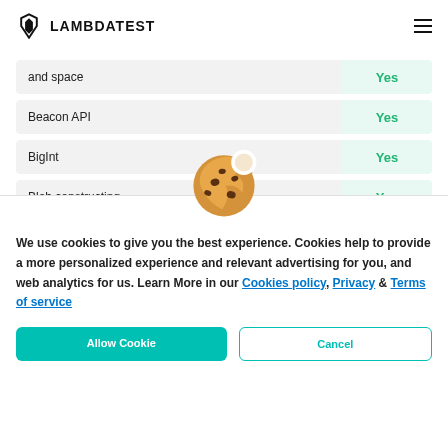LAMBDATEST
| Feature | Support |
| --- | --- |
| and space | Yes |
| Beacon API | Yes |
| BigInt | Yes |
| Blob constructing | Yes |
[Figure (illustration): Cookie emoji icon — a round cookie with chocolate chip spots and a bite taken out]
We use cookies to give you the best experience. Cookies help to provide a more personalized experience and relevant advertising for you, and web analytics for us. Learn More in our Cookies policy, Privacy & Terms of service
Allow Cookie | Cancel